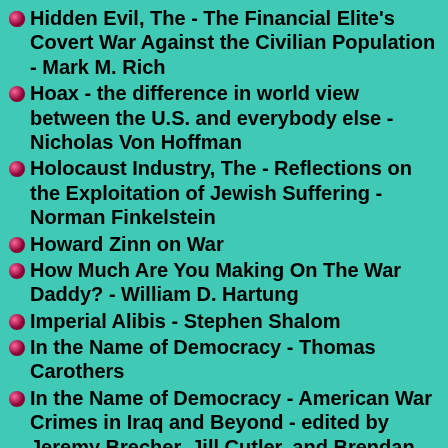Hidden Evil, The - The Financial Elite's Covert War Against the Civilian Population - Mark M. Rich
Hoax - the difference in world view between the U.S. and everybody else - Nicholas Von Hoffman
Holocaust Industry, The - Reflections on the Exploitation of Jewish Suffering - Norman Finkelstein
Howard Zinn on War
How Much Are You Making On The War Daddy? - William D. Hartung
Imperial Alibis - Stephen Shalom
In the Name of Democracy - Thomas Carothers
In the Name of Democracy - American War Crimes in Iraq and Beyond - edited by Jeremy Brecher, Jill Cutler, and Brendan Smith
Intervention and Revolution - Richard Barnet
Intimate History of Killing, An - in 20th-century warfare - Joanna Bourke
Iraq-Contra Connection, The - Johnathan...